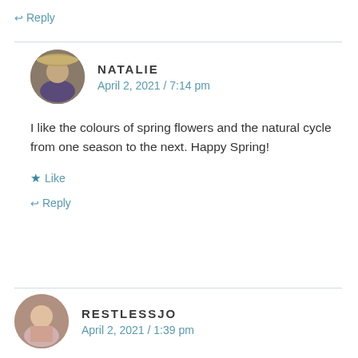↩ Reply
NATALIE
April 2, 2021 / 7:14 pm
I like the colours of spring flowers and the natural cycle from one season to the next. Happy Spring!
★ Like
↩ Reply
RESTLESSJO
April 2, 2021 / 1:39 pm
The crocus win! Just love them 🙂 🙂 Happy Easter, Natalie!
★ Like